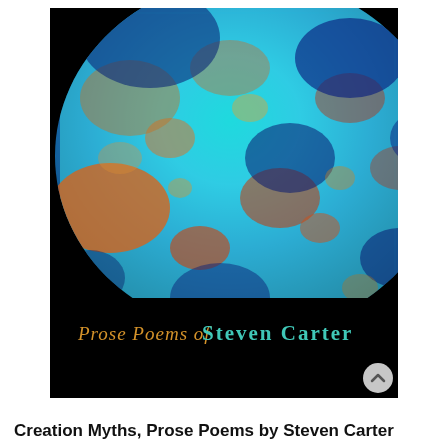[Figure (illustration): Book cover for 'Creation Myths, Prose Poems by Steven Carter'. Black background with a large elliptical cosmic microwave background map showing blue, cyan, and orange speckled patterns resembling a planet or cosmic sphere. At the bottom of the cover in stylized text: 'Prose Poems of STEVEN CARTER' in orange and teal/gold lettering.]
Creation Myths, Prose Poems by Steven Carter